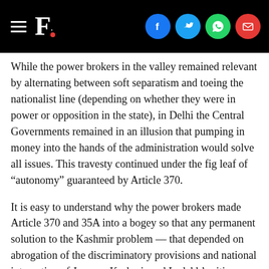F. [Firstpost logo with social share icons: Facebook, Twitter, WhatsApp, Email]
While the power brokers in the valley remained relevant by alternating between soft separatism and toeing the nationalist line (depending on whether they were in power or opposition in the state), in Delhi the Central Governments remained in an illusion that pumping in money into the hands of the administration would solve all issues. This travesty continued under the fig leaf of “aut onomy” guaranteed by Article 370.
It is easy to understand why the power brokers made Article 370 and 35A into a bogey so that any permanent solution to the Kashmir problem — that depended on abrogation of the discriminatory provisions and national integration of Jammu, Kashmir and Ladakh’s citizens — remains forever out of reach.
Both JKNC of the Abdullahs and People's Democratic Party (PDP) of the Muftis kept up issuing incendiary statements on the contentious provisions that fueled separatism in Kashmir and Congress willingly played along because their conflict entrepreneurship depended on the existence of the